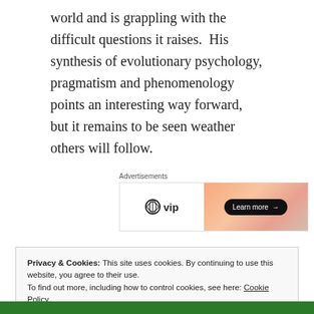world and is grappling with the difficult questions it raises.  His synthesis of evolutionary psychology, pragmatism and phenomenology points an interesting way forward, but it remains to be seen weather others will follow.
Advertisements
[Figure (other): WordPress VIP advertisement banner with logo on left and gradient background on right with 'Learn more →' button]
Privacy & Cookies: This site uses cookies. By continuing to use this website, you agree to their use.
To find out more, including how to control cookies, see here: Cookie Policy
Close and accept